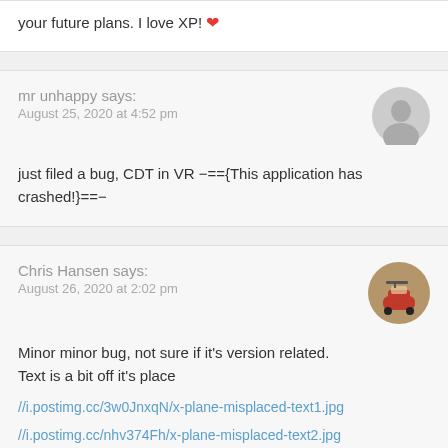your future plans. I love XP! ❤
mr unhappy says:
August 25, 2020 at 4:52 pm
just filed a bug, CDT in VR −=={This application has crashed!}==−
Chris Hansen says:
August 26, 2020 at 2:02 pm
Minor minor bug, not sure if it's version related.
Text is a bit off it's place
//i.postimg.cc/3w0JnxqN/x-plane-misplaced-text1.jpg
//i.postimg.cc/nhv374Fh/x-plane-misplaced-text2.jpg